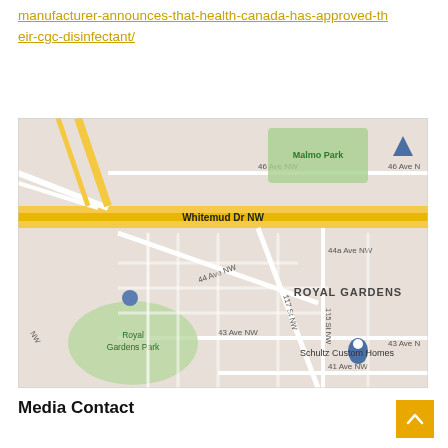manufacturer-announces-that-health-canada-has-approved-their-cgc-disinfectant/
[Figure (map): Google Maps screenshot showing Royal Gardens neighborhood in Edmonton, NW. Shows Whitemud Dr NW as a major road, surrounding streets including 44 Ave NW, 43 Ave NW, 44a Ave NW, 117 St NW, 115 St NW, Malmo Park, Royal Gardens Park, and a location pin for Schultz Custom Homes.]
Media Contact
[Figure (logo): Certified Green Cleaning logo with stylized script 'Certified' text above bold 'Green Cleaning' text and a leaf/olive branch illustration]